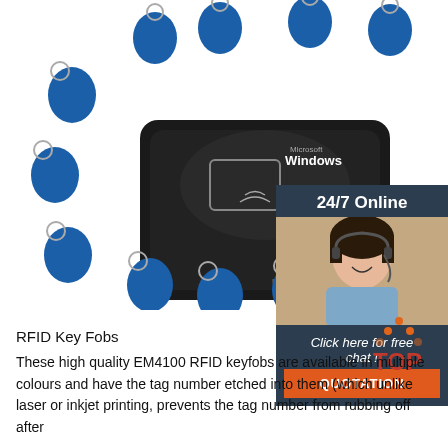[Figure (photo): Product photo of RFID key fobs (blue teardrop-shaped keychains) and a black USB RFID card reader with Microsoft Windows logo. Multiple blue key fobs are scattered around the reader.]
[Figure (infographic): 24/7 Online chat box with a customer service representative (woman with headset) and buttons: 'Click here for free chat!' and 'QUOTATION' in orange.]
[Figure (logo): TOP icon with red text and orange dots arranged in a triangle above.]
RFID Key Fobs
These high quality EM4100 RFID keyfobs are available in multiple colours and have the tag number etched into them (which unlike laser or inkjet printing, prevents the tag number from rubbing off after